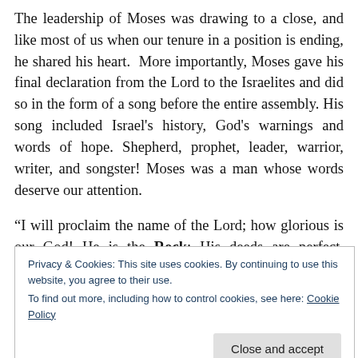The leadership of Moses was drawing to a close, and like most of us when our tenure in a position is ending, he shared his heart.  More importantly, Moses gave his final declaration from the Lord to the Israelites and did so in the form of a song before the entire assembly. His song included Israel's history, God's warnings and words of hope. Shepherd, prophet, leader, warrior, writer, and songster! Moses was a man whose words deserve our attention.
“I will proclaim the name of the Lord; how glorious is our God! He is the Rock; His deeds are perfect. Everything He does is just and fair. He is a faithful God
Privacy & Cookies: This site uses cookies. By continuing to use this website, you agree to their use.
To find out more, including how to control cookies, see here: Cookie Policy
to be side by side, building on the Rock...